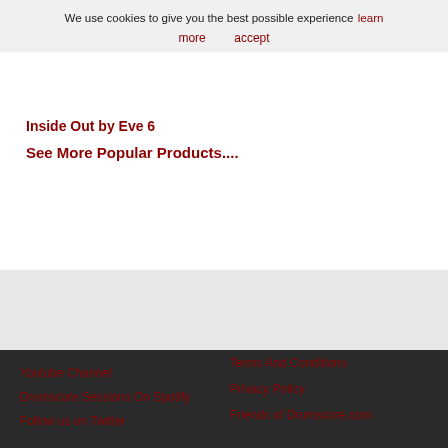We use cookies to give you the best possible experience  learn more  accept
Inside Out by Eve 6
See More Popular Products....
Youtube Channel
Drumscore Sessions On Spotify
Follow us on Twitter
Terms And Conditions
Privacy Policy
Friends of Drumscore.com